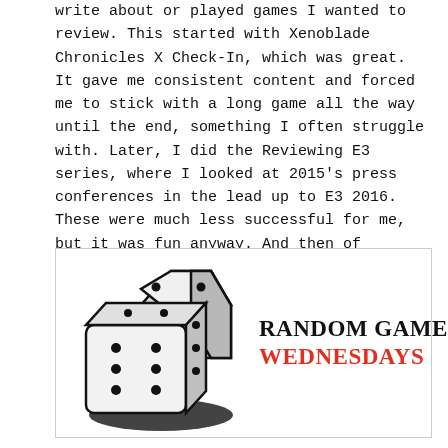write about or played games I wanted to review. This started with Xenoblade Chronicles X Check-In, which was great. It gave me consistent content and forced me to stick with a long game all the way until the end, something I often struggle with. Later, I did the Reviewing E3 series, where I looked at 2015's press conferences in the lead up to E3 2016. These were much less successful for me, but it was fun anyway. And then of course, Random Game Wednesdays.
[Figure (logo): Random Game Wednesdays logo: two white dice with black dots on a dark shadow base, beside bold text 'RANDOM GAME' in black and 'WEDNESDAYS' in red.]